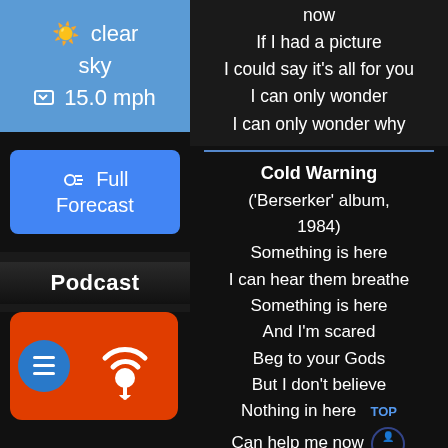[Figure (screenshot): Weather widget showing clear sky, sun emoji, and wind speed 15.0 mph on blue background]
[Figure (screenshot): Blue button labeled Full Forecast with weather icon]
[Figure (screenshot): Podcast app section with label and podcast icon on red background with blue circle hamburger menu]
now
If I had a picture
I could say it's all for you
I can only wonder
I can only wonder why
Cold Warning
('Berserker' album, 1984)
Something is here
I can hear them breathe
Something is here
And I'm scared
Beg to your Gods
But I don't believe
Nothing in here
Can help me now
Cold warning comes for me
Something is here
And I've got the nerves